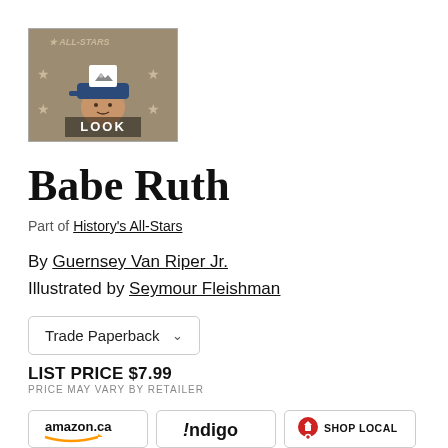[Figure (photo): Book cover thumbnail for 'Babe Ruth' from History's All-Stars series, showing a cartoon illustration of a boy wearing a baseball cap. A 'LOOK' label is overlaid at the bottom with a camera icon above it.]
Babe Ruth
Part of History's All-Stars
By Guernsey Van Riper Jr.
Illustrated by Seymour Fleishman
Trade Paperback
LIST PRICE $7.99
PRICE MAY VARY BY RETAILER
[Figure (logo): amazon.ca retailer logo]
[Figure (logo): Indigo retailer logo]
[Figure (logo): Shop Local retailer logo]